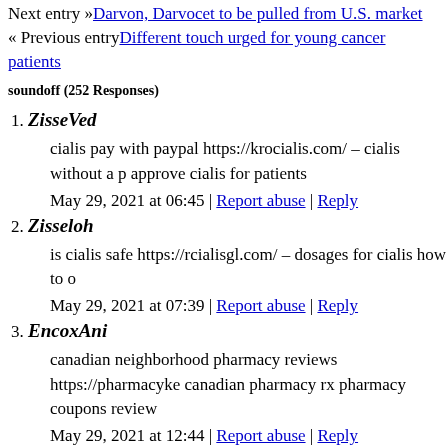Next entry »Darvon, Darvocet to be pulled from U.S. market
« Previous entryDifferent touch urged for young cancer patients
soundoff (252 Responses)
1. ZisseVed
cialis pay with paypal https://krocialis.com/ – cialis without a p approve cialis for patients
May 29, 2021 at 06:45 | Report abuse | Reply
2. Zisseloh
is cialis safe https://rcialisgl.com/ – dosages for cialis how to o
May 29, 2021 at 07:39 | Report abuse | Reply
3. EncoxAni
canadian neighborhood pharmacy reviews https://pharmacyke canadian pharmacy rx pharmacy coupons review
May 29, 2021 at 12:44 | Report abuse | Reply
4. MileSwa
cialis australia no prescription https://ckacialis.com/ – generic